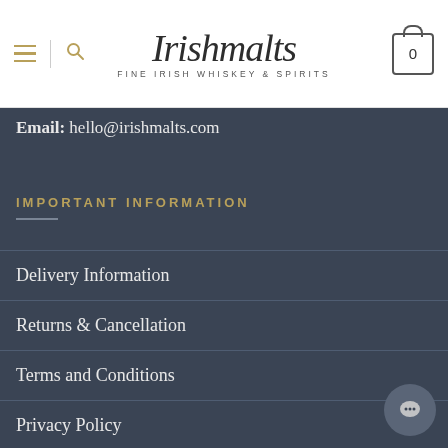Irishmalts — FINE IRISH WHISKEY & SPIRITS
Email: hello@irishmalts.com
IMPORTANT INFORMATION
Delivery Information
Returns & Cancellation
Terms and Conditions
Privacy Policy
Cookie Policy